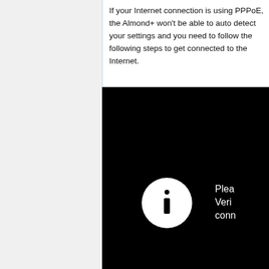If your Internet connection is using PPPoE, the Almond+ won't be able to auto detect your settings and you need to follow the following steps to get connected to the Internet.
[Figure (screenshot): A black screen showing a white information icon (circle with 'i') on the left and partial white text on the right reading 'Plea... Veri... conn...' — appears to be a router setup screen.]